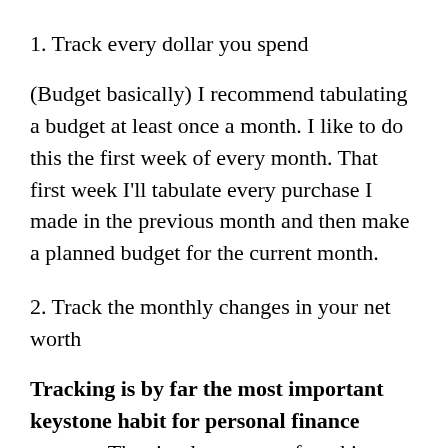1. Track every dollar you spend
(Budget basically) I recommend tabulating a budget at least once a month. I like to do this the first week of every month. That first week I'll tabulate every purchase I made in the previous month and then make a planned budget for the current month.
2. Track the monthly changes in your net worth
Tracking is by far the most important keystone habit for personal finance success. The simple process of tracking your